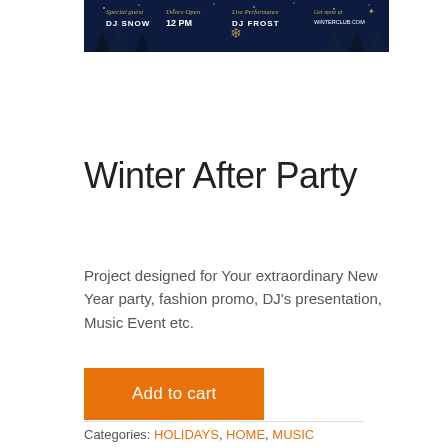[Figure (photo): Partial view of a dark blue winter party flyer/poster showing text: Special guest DJ SNOW, Doors Open 12 PM, Live Performance DJ FROST, Get more at WINTERCLUB.COM]
Winter After Party
Project designed for Your extraordinary New Year party, fashion promo, DJ's presentation, Music Event etc.
Add to cart
Categories: HOLIDAYS, HOME, MUSIC